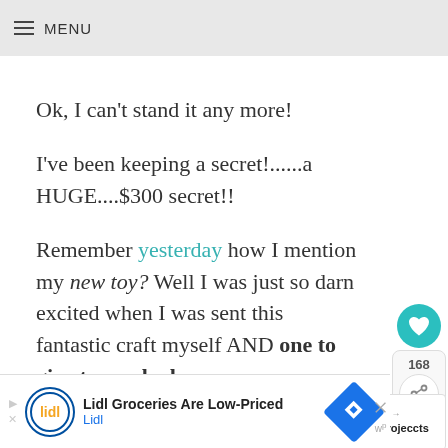≡ MENU
Ok, I can't stand it any more!
I've been keeping a secret!......a HUGE....$300 secret!!
Remember yesterday how I mention my new toy? Well I was just so darn excited when I was sent this fantastic craft myself AND one to give to one lucky TidyMom reader!!!
[Figure (other): Social share widget: heart button with teal background, share count 168, share icon]
[Figure (other): What's Next widget with thumbnail and text: Silhouette Projeccts]
[Figure (other): Advertisement banner: Lidl Groceries Are Low-Priced, Lidl logo, blue diamond navigation icon, close button]